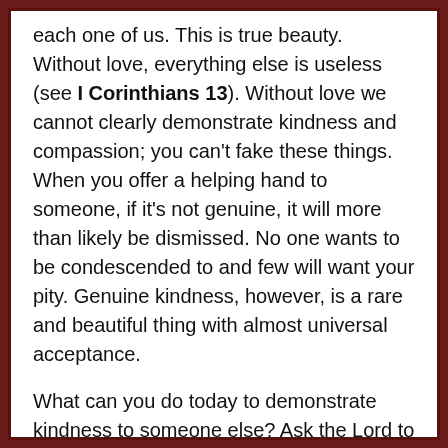each one of us. This is true beauty. Without love, everything else is useless (see I Corinthians 13). Without love we cannot clearly demonstrate kindness and compassion; you can't fake these things. When you offer a helping hand to someone, if it's not genuine, it will more than likely be dismissed. No one wants to be condescended to and few will want your pity. Genuine kindness, however, is a rare and beautiful thing with almost universal acceptance.
What can you do today to demonstrate kindness to someone else? Ask the Lord to burn compassion deep into your heart, so that you may see others as He sees them. As Bob Pierce prayed years ago, beg God